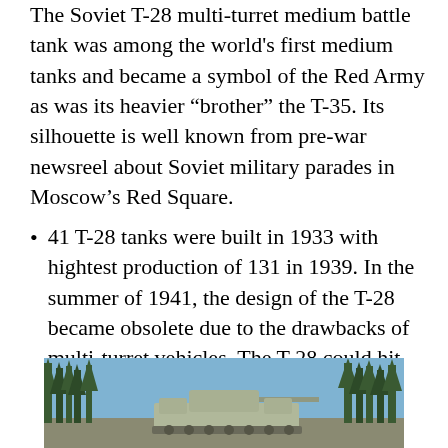The Soviet T-28 multi-turret medium battle tank was among the world's first medium tanks and became a symbol of the Red Army as was its heavier “brother” the T-35. Its silhouette is well known from pre-war newsreel about Soviet military parades in Moscow’s Red Square.
41 T-28 tanks were built in 1933 with hightest production of 131 in 1939. In the summer of 1941, the design of the T-28 became obsolete due to the drawbacks of multi-turret vehicles. The T-28 could hit any German tank from long distances.
[Figure (photo): Photograph of a T-28 Soviet medium tank displayed outdoors in a forest setting with tall coniferous trees in the background and blue sky visible above.]